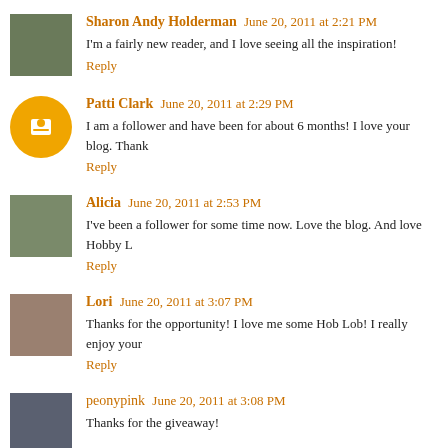Sharon Andy Holderman  June 20, 2011 at 2:21 PM
I'm a fairly new reader, and I love seeing all the inspiration!
Reply
Patti Clark  June 20, 2011 at 2:29 PM
I am a follower and have been for about 6 months! I love your blog. Thank
Reply
Alicia  June 20, 2011 at 2:53 PM
I've been a follower for some time now. Love the blog. And love Hobby L
Reply
Lori  June 20, 2011 at 3:07 PM
Thanks for the opportunity! I love me some Hob Lob! I really enjoy your
Reply
peonypink  June 20, 2011 at 3:08 PM
Thanks for the giveaway!